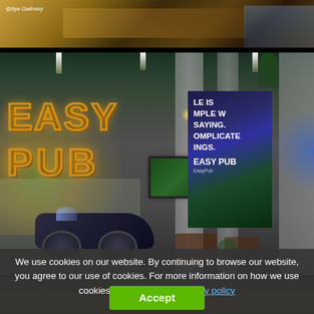[Figure (photo): Top portion of a restaurant/bar interior showing wooden tables and chairs with warm lighting]
[Figure (photo): Interior of Easy Pub bar with large EASY PUB neon/illuminated sign on the left wall, concrete walls, a motorcycle parked inside, TV screen, posters on the wall including one reading 'LIFE IS SIMPLE WE SAYING COMPLICATED THINGS. EASY PUB', and seating area with plants]
We use cookies on our website. By continuing to browse our website, you agree to our use of cookies. For more information on how we use cookies please read our privacy policy
Accept